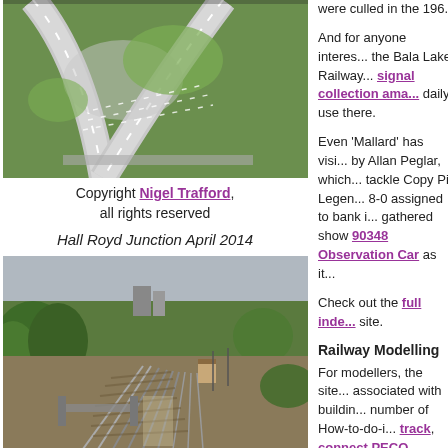[Figure (photo): Aerial view of a road junction with green fields, top-left column]
Copyright Nigel Trafford, all rights reserved
Hall Royd Junction April 2014
[Figure (photo): Model railway layout with green scenery and multiple tracks, bridges and signals]
were culled in the 196...
And for anyone interes... the Bala Lake Railway... signal collection ama... daily use there.
Even 'Mallard' has visi... by Allan Peglar, which... tackle Copy Pit. Legen... 8-0 assigned to bank i... gathered show 90348 Observation Car as it...
Check out the full inde... site.
Railway Modelling
For modellers, the site... associated with buildin... number of How-to-do-i... track, connect PECO cheaply, how to work... switches, how to cro... more!